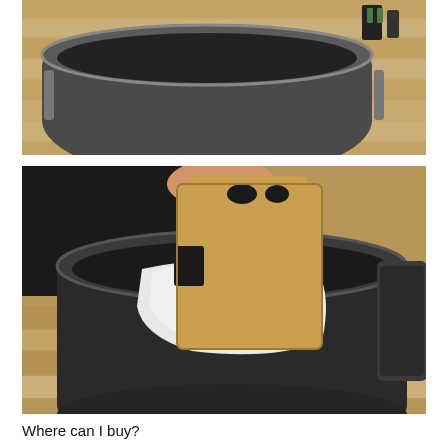[Figure (photo): Top-down view of a robot vacuum cleaner base station or docking unit with open lid, on a wooden floor. Remote control and other items visible in the background.]
[Figure (photo): A hand holding a tan/brown paper vacuum bag (shaped with circular cutout, resembling a dust bag) being placed into a dark cylindrical vacuum cleaner body with an open top. A white dust bag is visible inside the unit. Wooden floor in background.]
Where can I buy?